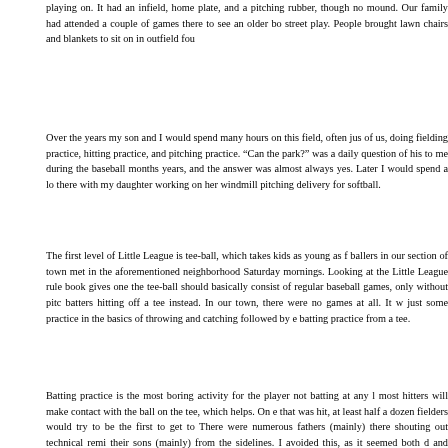playing on. It had an infield, home plate, and a pitching rubber, though no mound. Our family had attended a couple of games there to see an older boy on the street play. People brought lawn chairs and blankets to sit on in outfield foul...
Over the years my son and I would spend many hours on this field, often just the two of us, doing fielding practice, hitting practice, and pitching practice. “Can we go to the park?” was a daily question of his to me during the baseball months for several years, and the answer was almost always yes. Later I would spend a lot of time there with my daughter working on her windmill pitching delivery for softball.
The first level of Little League is tee-ball, which takes kids as young as five. Tee-ballers in our section of town met in the aforementioned neighborhood park on Saturday mornings. Looking at the Little League rule book gives one the impression that tee-ball should basically consist of regular baseball games, only without pitching, with batters hitting off a tee instead. In our town, there were no games at all. It was really just some practice in the basics of throwing and catching followed by everyone getting batting practice from a tee.
Batting practice is the most boring activity for the player not batting at any level, but most hitters will make contact with the ball on the tee, which helps. On every ball that was hit, at least half a dozen fielders would try to be the first to get to the ball. There were numerous fathers (mainly) there shouting out technical reminders to their sons (mainly) from the sidelines. I avoided this, as it seemed both distracting and somewhat overbearing, however well-intentioned, though I watched to see what my son was doing and how he compared to the others just as attentively as anyone. Having had a weak throwing arm myself, I was glad to see that my son’s arm was among the best, as I had guessed it would be. Rules and positions were not taught much to speak of, but the kids got caps and tee shirts that gave...